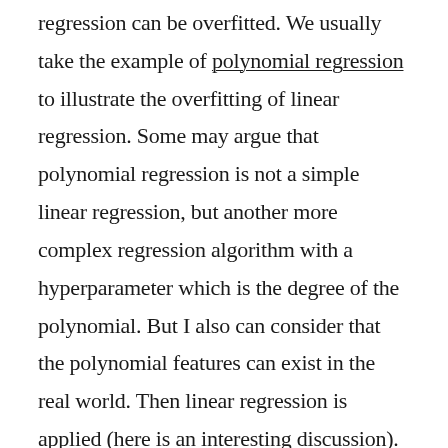regression can be overfitted. We usually take the example of polynomial regression to illustrate the overfitting of linear regression. Some may argue that polynomial regression is not a simple linear regression, but another more complex regression algorithm with a hyperparameter which is the degree of the polynomial. But I also can consider that the polynomial features can exist in the real world. Then linear regression is applied (here is an interesting discussion). 2) the feature engineering techniques can